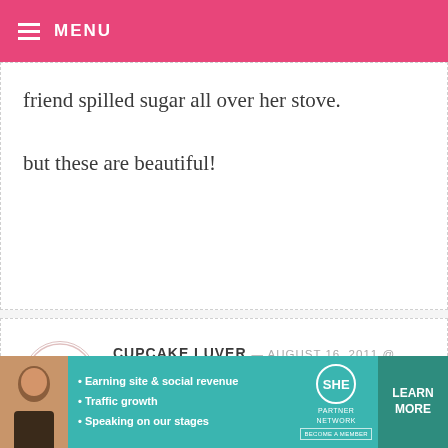MENU
friend spilled sugar all over her stove. but these are beautiful!
CUPCAKE LUVER — AUGUST 16, 2011 @ 1:57 PM
I am making these for ginger bread houses!
CREATED BY CHRISTI — AUGUST 16, 2011 @